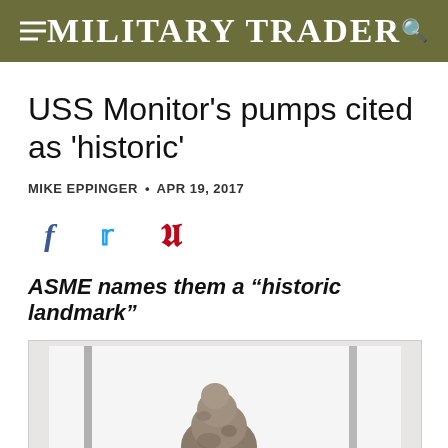MILITARY TRADER
USS Monitor's pumps cited as 'historic'
MIKE EPPINGER • APR 19, 2017
ASME names them a "historic landmark"
[Figure (photo): Photograph of a corroded pump artifact from the USS Monitor displayed against a white background with a vertical bar/pipe visible.]